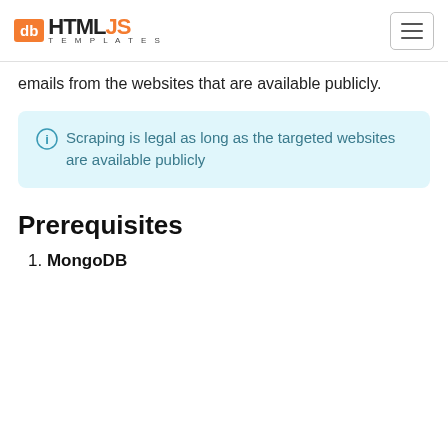db HTML JS TEMPLATES [navigation logo and hamburger menu]
emails from the websites that are available publicly.
Scraping is legal as long as the targeted websites are available publicly
Prerequisites
1. MongoDB